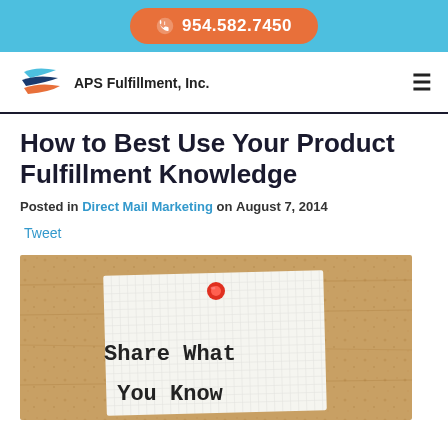954.582.7450
[Figure (logo): APS Fulfillment, Inc. logo with stylized flag/swoosh icon]
How to Best Use Your Product Fulfillment Knowledge
Posted in Direct Mail Marketing on August 7, 2014
Tweet
[Figure (photo): Corkboard with a note pinned by a red pushpin reading 'Share What You Know']